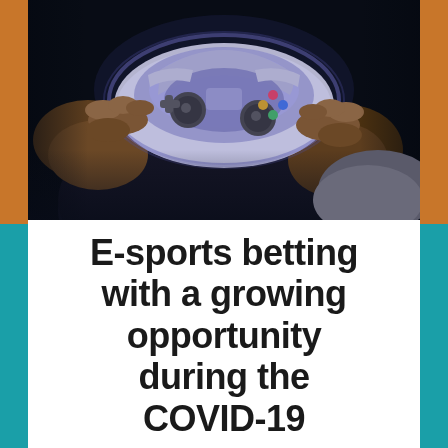[Figure (photo): Close-up photograph of hands holding a white video game controller (PlayStation-style gamepad) with dramatic purple/blue lighting against a dark background. The person is wearing a dark jacket and grey hoodie.]
E-sports betting with a growing opportunity during the COVID-19